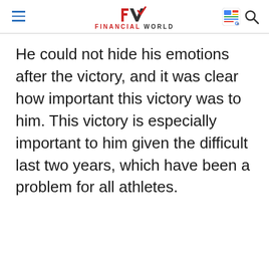Financial World
He could not hide his emotions after the victory, and it was clear how important this victory was to him. This victory is especially important to him given the difficult last two years, which have been a problem for all athletes.